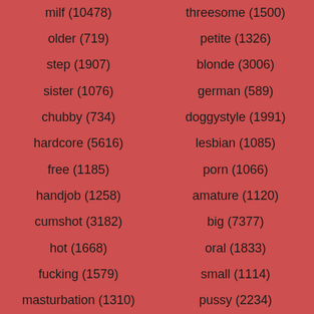milf (10478)
threesome (1500)
older (719)
petite (1326)
step (1907)
blonde (3006)
sister (1076)
german (589)
chubby (734)
doggystyle (1991)
hardcore (5616)
lesbian (1085)
free (1185)
porn (1066)
handjob (1258)
amature (1120)
cumshot (3182)
big (7377)
hot (1668)
oral (1833)
fucking (1579)
small (1114)
masturbation (1310)
pussy (2234)